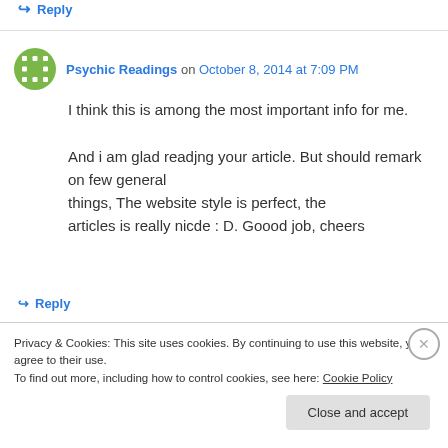↪ Reply
Psychic Readings on October 8, 2014 at 7:09 PM
I think this is among the most important info for me.
And i am glad readjng your article. But should remark on few general things, The website style is perfect, the articles is really nicde : D. Goood job, cheers
↪ Reply
Privacy & Cookies: This site uses cookies. By continuing to use this website, you agree to their use.
To find out more, including how to control cookies, see here: Cookie Policy
Close and accept